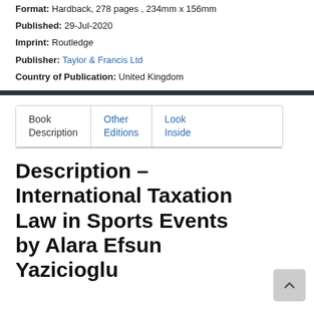Format: Hardback, 278 pages , 234mm x 156mm
Published: 29-Jul-2020
Imprint: Routledge
Publisher: Taylor & Francis Ltd
Country of Publication: United Kingdom
[Figure (other): Navigation tab row with three tabs: Book Description (active), Other Editions (link), Look Inside (link)]
Description - International Taxation Law in Sports Events by Alara Efsun Yazicioglu